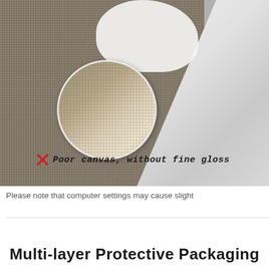[Figure (photo): Close-up photo of canvas fabric texture (dark woven textile background) with a magnified circular inset showing canvas weave detail, overlaid with white fabric/material. A red X mark and italic text label reading 'Poor canvas, without fine gloss' appears over the image.]
Please note that computer settings may cause slight
Multi-layer Protective Packaging